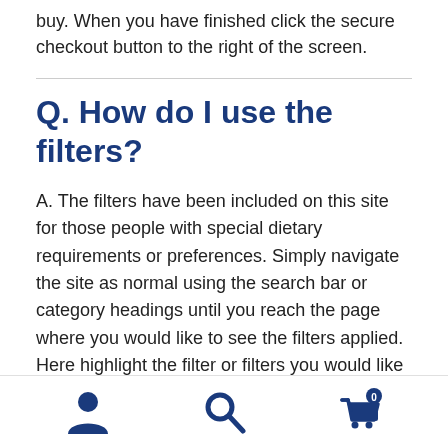buy. When you have finished click the secure checkout button to the right of the screen.
Q. How do I use the filters?
A. The filters have been included on this site for those people with special dietary requirements or preferences. Simply navigate the site as normal using the search bar or category headings until you reach the page where you would like to see the filters applied. Here highlight the filter or filters you would like to see then click apply. All the products that match the filters will appear on screen. To disable the filters un-check the appropriate fields then click apply.
[Figure (infographic): Bottom navigation bar with three icons: user/account icon on the left, search magnifying glass icon in the center, shopping cart icon with a badge showing '0' on the right.]